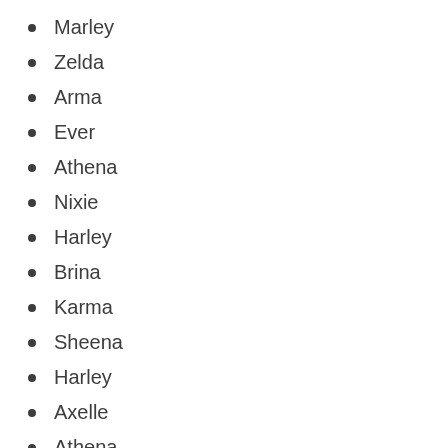Marley
Zelda
Arma
Ever
Athena
Nixie
Harley
Brina
Karma
Sheena
Harley
Axelle
Athena
Pheonix